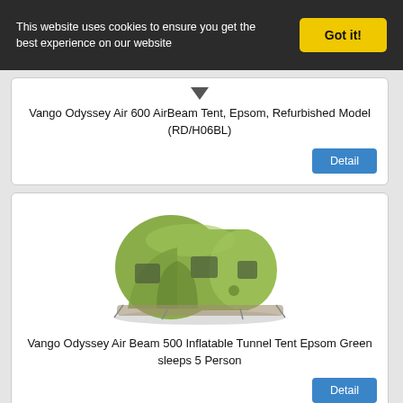This website uses cookies to ensure you get the best experience on our website
Got it!
Vango Odyssey Air 600 AirBeam Tent, Epsom, Refurbished Model (RD/H06BL)
Detail
[Figure (photo): Vango Odyssey Air Beam 500 inflatable tunnel tent in Epsom Green colour, shown assembled against white background]
Vango Odyssey Air Beam 500 Inflatable Tunnel Tent Epsom Green sleeps 5 Person
Detail
[Figure (photo): Partial view of a green and red tent at the bottom of the page]